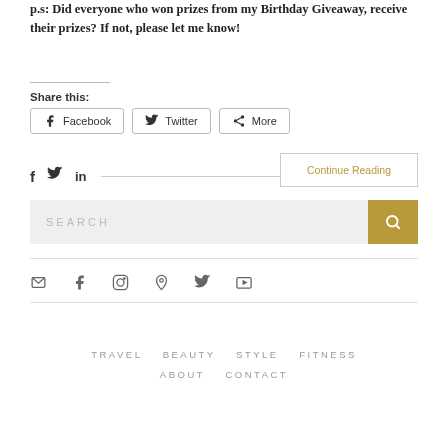p.s: Did everyone who won prizes from my Birthday Giveaway, receive their prizes? If not, please let me know!
Share this:
Facebook  Twitter  More
[Figure (infographic): Social media icons row: Facebook (f), Twitter (bird), LinkedIn (in), followed by a horizontal line and Continue Reading button]
[Figure (infographic): Search bar with SEARCH placeholder text and gold search button with magnifying glass icon]
[Figure (infographic): Social media icon links row: email, Facebook, Instagram, Pinterest, Twitter, YouTube]
TRAVEL  BEAUTY  STYLE  FITNESS  ABOUT  CONTACT